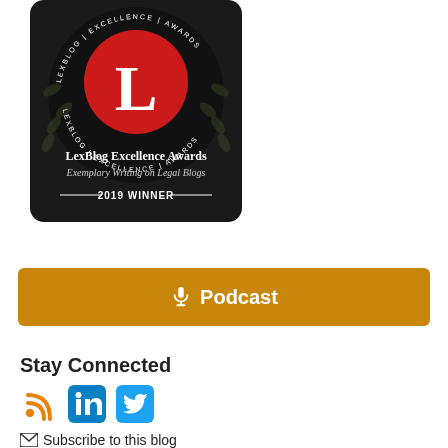[Figure (logo): LexBlog Excellence Awards badge — black rounded rectangle with a red circle containing a white 'L', surrounded by circular text 'LEXBLOG | EXCELLENCE | AWARDS', with olive branches decoration. Text below: 'LexBlog Excellence Awards', 'Exemplary Writing on Legal Blogs', '— 2019 WINNER —']
[Figure (other): Orange/amber rounded rectangle button with microphone icon and text 'Podcast' in white]
Stay Connected
[Figure (other): Social media icons: RSS (orange), LinkedIn (blue square), Twitter (blue square)]
Subscribe to this blog